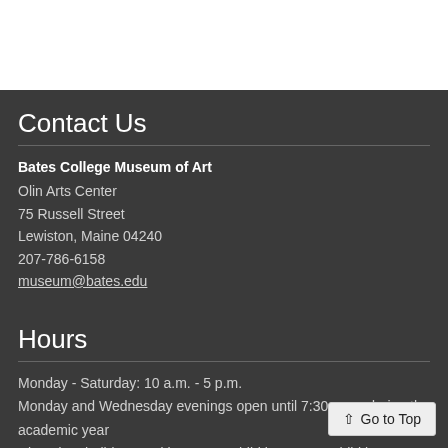Contact Us
Bates College Museum of Art
Olin Arts Center
75 Russell Street
Lewiston, Maine 04240
207-786-6158
museum@bates.edu
Hours
Monday - Saturday: 10 a.m. - 5 p.m.
Monday and Wednesday evenings open until 7:30 p.m., during the academic year
Closed on holidays and between exhibitions, see exhibitions page